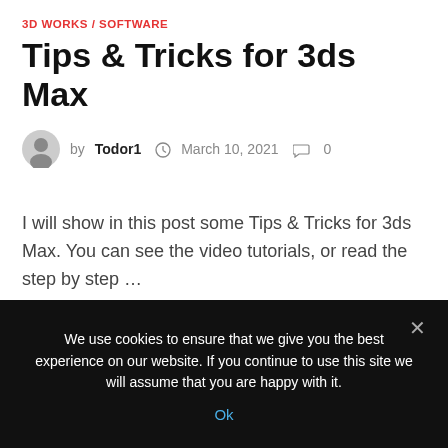3D WORKS / SOFTWARE
Tips & Tricks for 3ds Max
by Todor1  March 10, 2021  0
I will show in this post some Tips & Tricks for 3ds Max. You can see the video tutorials, or read the step by step …
We use cookies to ensure that we give you the best experience on our website. If you continue to use this site we will assume that you are happy with it. Ok